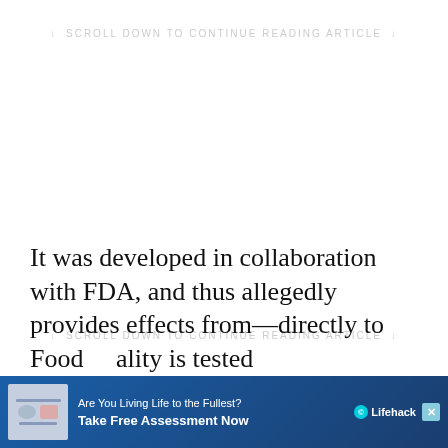↓ SCROLL DOWN TO CONTINUE READING ARTICLE ↓
↓ SCROLL DOWN TO CONTINUE READING ARTICLE ↓
It was developed in collaboration with FDA, and thus allegedly provides effects from—directly to Food … ality is tested
[Figure (infographic): Advertisement banner: 'Are You Living Life to the Fullest? Take Free Assessment Now' with Lifehack branding and a close button]